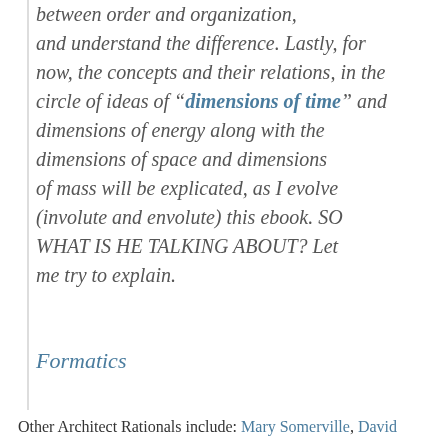between order and organization, and understand the difference. Lastly, for now, the concepts and their relations, in the circle of ideas of “dimensions of time” and dimensions of energy along with the dimensions of space and dimensions of mass will be explicated, as I evolve (involute and envolute) this ebook. SO WHAT IS HE TALKING ABOUT? Let me try to explain.
Formatics
Other Architect Rationals include: Mary Somerville, David